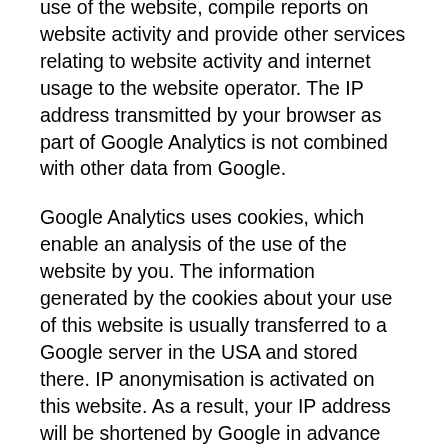use of the website, compile reports on website activity and provide other services relating to website activity and internet usage to the website operator. The IP address transmitted by your browser as part of Google Analytics is not combined with other data from Google.
Google Analytics uses cookies, which enable an analysis of the use of the website by you. The information generated by the cookies about your use of this website is usually transferred to a Google server in the USA and stored there. IP anonymisation is activated on this website. As a result, your IP address will be shortened by Google in advance within member states of the European Union or in other contracting states of the Agreement on the European Economic Area. Only in exceptional cases is the full IP address transmitted to a Google server in the USA and shortened there. Your data may be transferred to the USA. The European Commission has issued an adequacy decision for data transfers to the USA. Processing is carried out on the basis of Art. 6 (1) lit. f